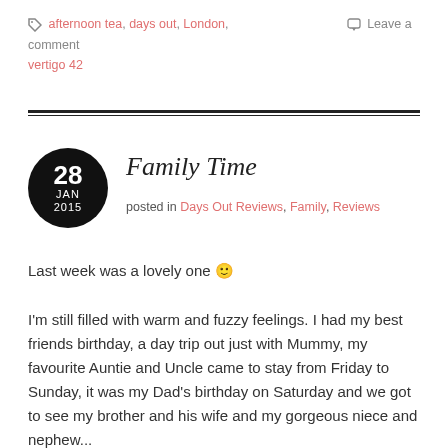afternoon tea, days out, London, vertigo 42  Leave a comment
Family Time
posted in Days Out Reviews, Family, Reviews
Last week was a lovely one 🙂
I'm still filled with warm and fuzzy feelings. I had my best friends birthday, a day trip out just with Mummy, my favourite Auntie and Uncle came to stay from Friday to Sunday, it was my Dad's birthday on Saturday and we got to see my brother and his wife and my gorgeous niece and nephew...